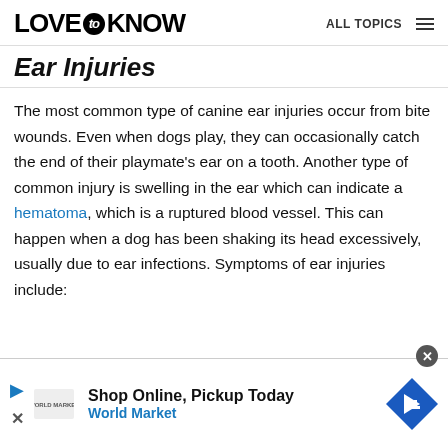LOVE to KNOW   ALL TOPICS
Ear Injuries
The most common type of canine ear injuries occur from bite wounds. Even when dogs play, they can occasionally catch the end of their playmate's ear on a tooth. Another type of common injury is swelling in the ear which can indicate a hematoma, which is a ruptured blood vessel. This can happen when a dog has been shaking its head excessively, usually due to ear infections. Symptoms of ear injuries include:
[Figure (other): Advertisement banner: Shop Online, Pickup Today - World Market, with navigation icon and close button]